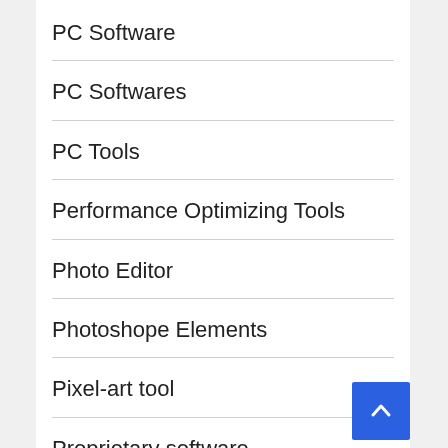PC Software
PC Softwares
PC Tools
Performance Optimizing Tools
Photo Editor
Photoshope Elements
Pixel-art tool
Proprietary software
Recovery software